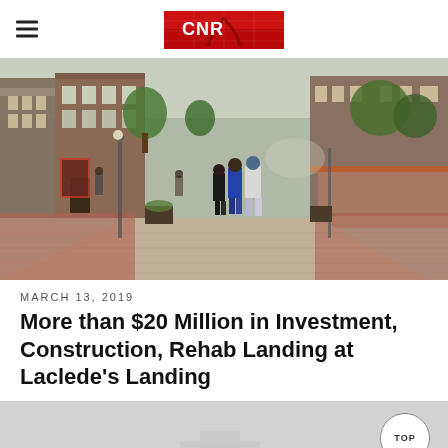CNR logo and hamburger menu
[Figure (photo): Street view of Laclede's Landing with cobblestone street, brick buildings on both sides, people walking away from camera, trees and outdoor seating area visible]
MARCH 13, 2019
More than $20 Million in Investment, Construction, Rehab Landing at Laclede's Landing
[Figure (photo): Partial view of another photo at the bottom of the page, mostly light gray/overcast, with a TOP button overlay in the upper right corner]